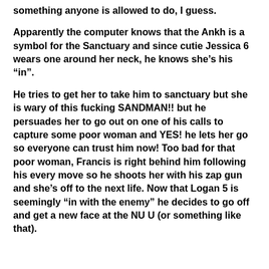something anyone is allowed to do, I guess.
Apparently the computer knows that the Ankh is a symbol for the Sanctuary and since cutie Jessica 6 wears one around her neck, he knows she’s his “in”.
He tries to get her to take him to sanctuary but she is wary of this fucking SANDMAN!! but he persuades her to go out on one of his calls to capture some poor woman and YES! he lets her go so everyone can trust him now! Too bad for that poor woman, Francis is right behind him following his every move so he shoots her with his zap gun and she’s off to the next life. Now that Logan 5 is seemingly “in with the enemy” he decides to go off and get a new face at the NU U (or something like that).